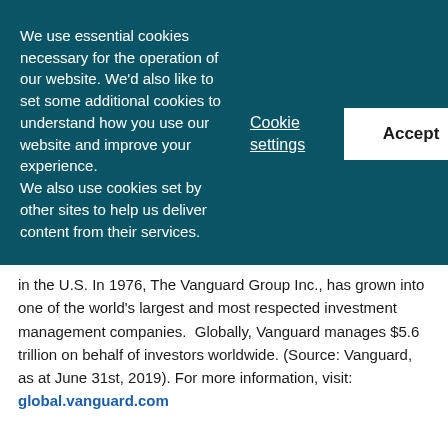We use essential cookies necessary for the operation of our website. We'd also like to set some additional cookies to understand how you use our website and improve your experience. We also use cookies set by other sites to help us deliver content from their services.
Cookie settings
Accept
Decline
in the U.S. In 1976, The Vanguard Group Inc., has grown into one of the world's largest and most respected investment management companies.  Globally, Vanguard manages $5.6 trillion on behalf of investors worldwide. (Source: Vanguard, as at June 31st, 2019). For more information, visit: global.vanguard.com